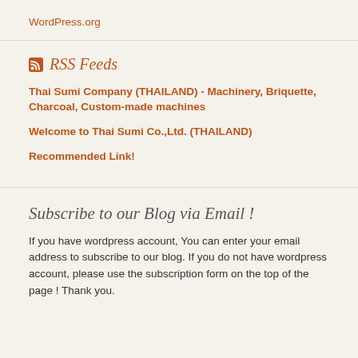WordPress.org
RSS Feeds
Thai Sumi Company (THAILAND) - Machinery, Briquette, Charcoal, Custom-made machines
Welcome to Thai Sumi Co.,Ltd. (THAILAND)
Recommended Link!
Subscribe to our Blog via Email !
If you have wordpress account, You can enter your email address to subscribe to our blog. If you do not have wordpress account, please use the subscription form on the top of the page ! Thank you.